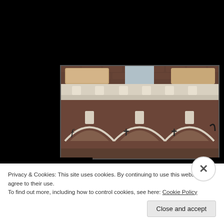[Figure (photo): Close-up photograph of a brick building facade with ornate white stone arch decorations, keystones, and decorative ironwork. The building features multiple arched windows with brick and white stone detailing.]
[Figure (photo): Photograph looking upward at a building roofline/gable with a pointed spire or stepped gable top against a clear blue sky. The architectural style appears to be Dutch or Flemish influenced.]
Privacy & Cookies: This site uses cookies. By continuing to use this website, you agree to their use.
To find out more, including how to control cookies, see here: Cookie Policy